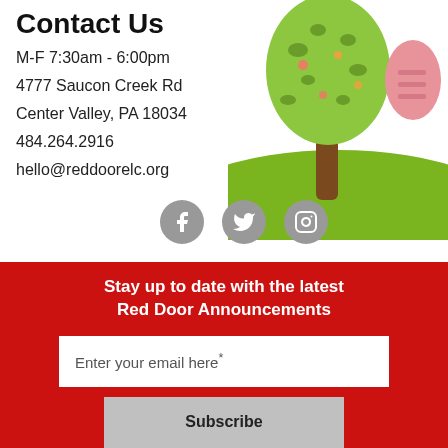Contact Us
M-F 7:30am - 6:00pm
4777 Saucon Creek Rd
Center Valley, PA 18034
484.264.2916
hello@reddoorelc.org
[Figure (illustration): Decorative illustration of a colorful tree with green foliage, brown trunk, and a pink/red bird or shape on the right side, with a green hill at the bottom. Three social media icons (Facebook, Twitter, Instagram) appear in gray circles below.]
Stay up to date with the latest Red Door Announcements
Enter your email here*
Subscribe